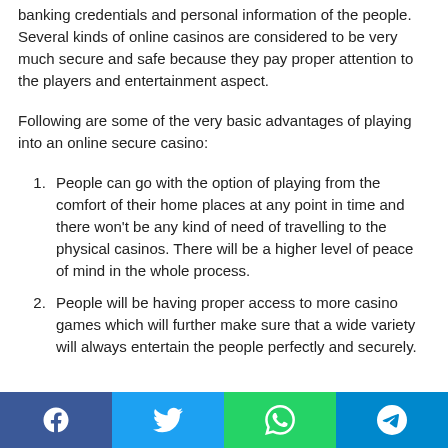banking credentials and personal information of the people. Several kinds of online casinos are considered to be very much secure and safe because they pay proper attention to the players and entertainment aspect.
Following are some of the very basic advantages of playing into an online secure casino:
People can go with the option of playing from the comfort of their home places at any point in time and there won't be any kind of need of travelling to the physical casinos. There will be a higher level of peace of mind in the whole process.
People will be having proper access to more casino games which will further make sure that a wide variety will always entertain the people perfectly and securely.
Facebook | Twitter | WhatsApp | Telegram